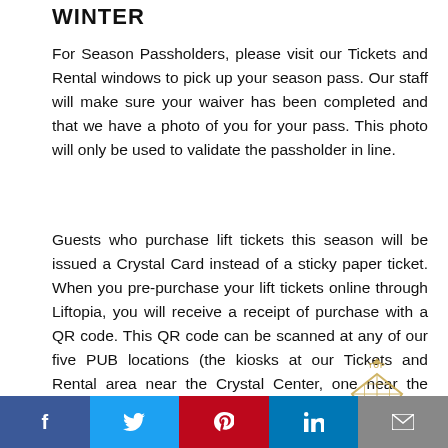WINTER
For Season Passholders, please visit our Tickets and Rental windows to pick up your season pass. Our staff will make sure your waiver has been completed and that we have a photo of you for your pass. This photo will only be used to validate the passholder in line.
Guests who purchase lift tickets this season will be issued a Crystal Card instead of a sticky paper ticket. When you pre-purchase your lift tickets online through Liftopia, you will receive a receipt of purchase with a QR code. This QR code can be scanned at any of our five PUB locations (the kiosks at our Tickets and Rental area near the Crystal Center, one near the Mountain Adventure Tower, one outside Kinlochen near the lodge). Once you have scanned your QR
[Figure (logo): Crystal Mountain logo - diamond/mountain shape with TOP text above]
f  t  p  in  mail icon - social share bar